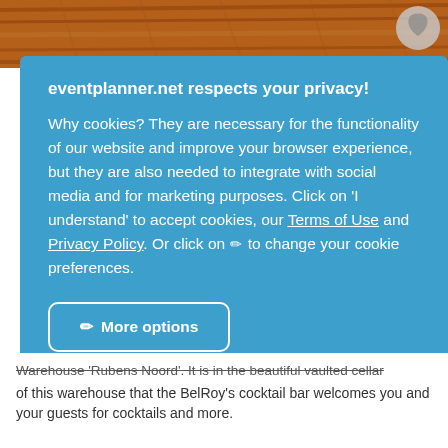[Figure (photo): Top strip showing a wooden vaulted ceiling in warm brown tones with a circular heart/favorite button in the top right corner]
eventplanner.net respects your privacy!
Why cookies? They are necessary for the functionality of our website and improve your browser experience, but they are also needed to integrate with social media and for marketing purposes. Click on 'I understand' to accept cookies, our Terms of Use and Privacy Policy. Or click on ✏ to change your cookie preferences.
More options
Reject all
Accept all
Warehouse 'Rubens Noord'. It is in the beautiful vaulted cellar of this warehouse that the BelRoy's cocktail bar welcomes you and your guests for cocktails and more.